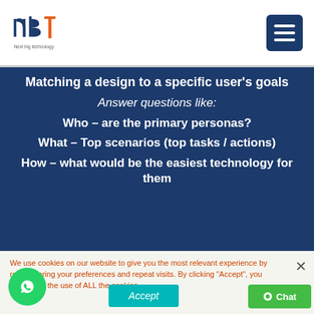nbt – Next big technology
Matching a design to a specific user's goals
Answer questions like:
Who – are the primary personas?
What – Top scenarios (top tasks / actions)
How – what would be the easiest technology for them
We use cookies on our website to give you the most relevant experience by remembering your preferences and repeat visits. By clicking "Accept", you consent to the use of ALL the cookies.